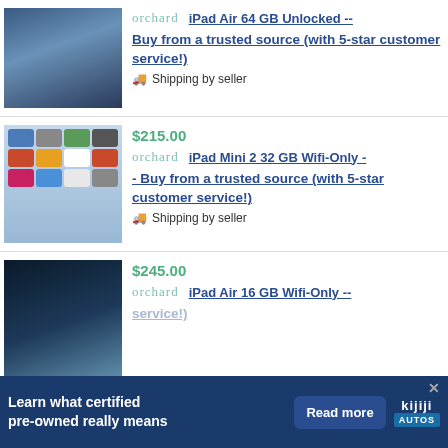[Figure (screenshot): Tablet product image with blue sky/clouds background - iPad Air]
orchard
iPad Air 64 GB Unlocked --
Buy from a trusted source (with 5-star customer service!)
Shipping by seller
$215.00
[Figure (screenshot): iPad Mini 2 showing home screen with app icons]
orchard
iPad Mini 2 32 GB Wifi-Only -
- Buy from a trusted source (with 5-star customer service!)
Shipping by seller
$245.00
[Figure (screenshot): iPad Air product image with dark blue background]
orchard
iPad Air 16 GB Wifi-Only --
service!)
[Figure (screenshot): Kijiji Autos advertisement banner - Learn what certified pre-owned really means]